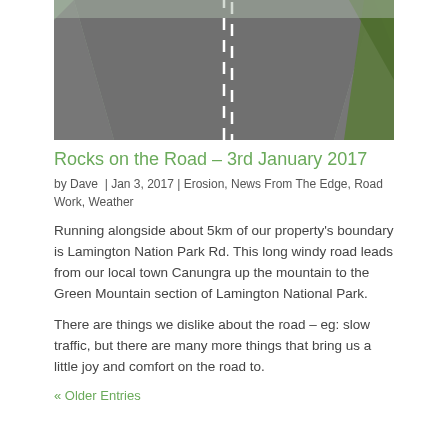[Figure (photo): Aerial/close-up view of a winding road with white dashed centre lines and green vegetation on the right edge]
Rocks on the Road – 3rd January 2017
by Dave | Jan 3, 2017 | Erosion, News From The Edge, Road Work, Weather
Running alongside about 5km of our property's boundary is Lamington Nation Park Rd. This long windy road leads from our local town Canungra up the mountain to the Green Mountain section of Lamington National Park.
There are things we dislike about the road – eg: slow traffic, but there are many more things that bring us a little joy and comfort on the road to.
« Older Entries